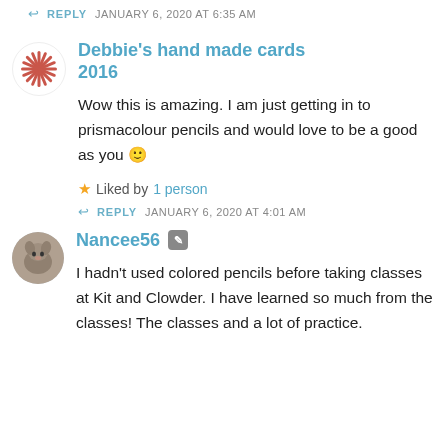REPLY  JANUARY 6, 2020 AT 6:35 AM
Debbie's hand made cards 2016
Wow this is amazing. I am just getting in to prismacolour pencils and would love to be a good as you 🙂
Liked by 1 person
REPLY  JANUARY 6, 2020 AT 4:01 AM
Nancee56
I hadn't used colored pencils before taking classes at Kit and Clowder. I have learned so much from the classes! The classes and a lot of practice.